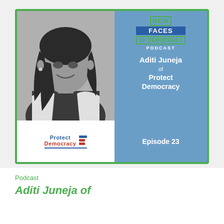[Figure (illustration): Podcast cover art for 'New Faces of Democracy Podcast' featuring Aditi Juneja of Protect Democracy, Episode 23. Left side shows a black-and-white photo of Aditi Juneja. Right side is blue with the podcast title logo, guest name, organization, and episode number. Bottom left shows the Protect Democracy logo.]
Podcast
Aditi Juneja of